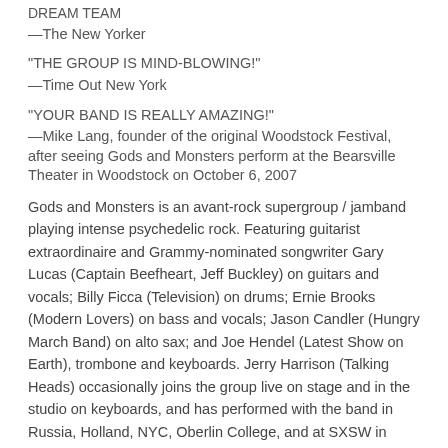DREAM TEAM
—The New Yorker
"THE GROUP IS MIND-BLOWING!"
—Time Out New York
"YOUR BAND IS REALLY AMAZING!"
—Mike Lang, founder of the original Woodstock Festival, after seeing Gods and Monsters perform at the Bearsville Theater in Woodstock on October 6, 2007
Gods and Monsters is an avant-rock supergroup / jamband playing intense psychedelic rock. Featuring guitarist extraordinaire and Grammy-nominated songwriter Gary Lucas (Captain Beefheart, Jeff Buckley) on guitars and vocals; Billy Ficca (Television) on drums; Ernie Brooks (Modern Lovers) on bass and vocals; Jason Candler (Hungry March Band) on alto sax; and Joe Hendel (Latest Show on Earth), trombone and keyboards. Jerry Harrison (Talking Heads) occasionally joins the group live on stage and in the studio on keyboards, and has performed with the band in Russia, Holland, NYC, Oberlin College, and at SXSW in Austin Texas. A hit producer (Live, OAR), Jerry Harrison has just finished producing Gods and Monsters new studio album, "The Ordeal of Civility".